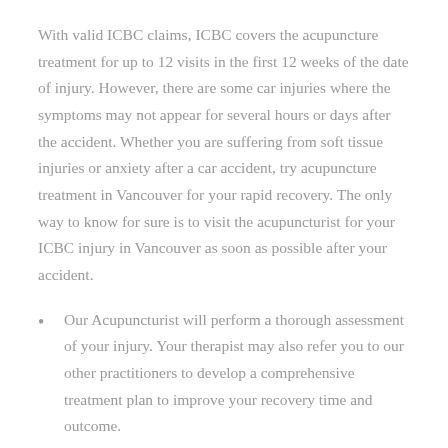With valid ICBC claims, ICBC covers the acupuncture treatment for up to 12 visits in the first 12 weeks of the date of injury. However, there are some car injuries where the symptoms may not appear for several hours or days after the accident. Whether you are suffering from soft tissue injuries or anxiety after a car accident, try acupuncture treatment in Vancouver for your rapid recovery. The only way to know for sure is to visit the acupuncturist for your ICBC injury in Vancouver as soon as possible after your accident.
Our Acupuncturist will perform a thorough assessment of your injury. Your therapist may also refer you to our other practitioners to develop a comprehensive treatment plan to improve your recovery time and outcome.
After the assessment, the acupuncturist will provide